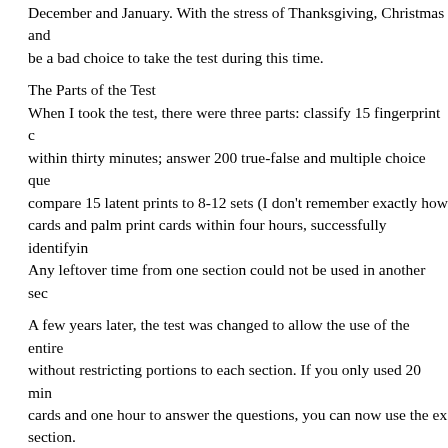December and January. With the stress of Thanksgiving, Christmas and be a bad choice to take the test during this time.
The Parts of the Test
When I took the test, there were three parts: classify 15 fingerprint cards within thirty minutes; answer 200 true-false and multiple choice questions; compare 15 latent prints to 8-12 sets (I don't remember exactly how many) of cards and palm print cards within four hours, successfully identifying them. Any leftover time from one section could not be used in another section.
A few years later, the test was changed to allow the use of the entire time without restricting portions to each section. If you only used 20 minutes on the cards and one hour to answer the questions, you can now use the extra time on any section.
Currently, the test is eight hours long and, again, the sections are not timed. There is no Henry Classification, but pattern recognition on several fingerprints. The true-false and multiple choice sections had questions on Henry Classification rules, classification rules, history, chemical processing and theory of comparison. The classification rules are gone and the chemical processing and theories remain.
Preparing for the Test
DISCLAIMER: Even if you follow all my suggestions, you may or may not pass. These are only suggestions and some techniques that worked for me.